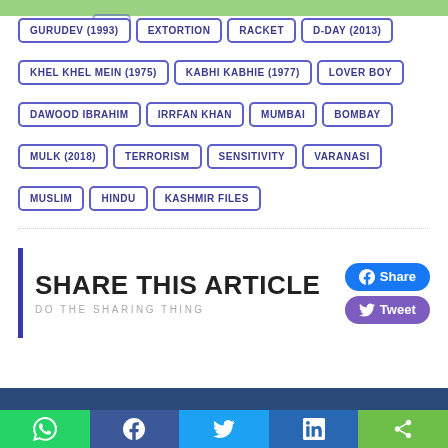GURUDEV (1993), EXTORTION, RACKET, D-DAY (2013)
KHEL KHEL MEIN (1975), KABHI KABHIE (1977), LOVER BOY
DAWOOD IBRAHIM, IRRFAN KHAN, MUMBAI, BOMBAY
MULK (2018), TERRORISM, SENSITIVITY, VARANASI
MUSLIM, HINDU, KASHMIR FILES
SHARE THIS ARTICLE
DO THE SHARING THING
Share · Tweet
[Figure (screenshot): Social share bar with WhatsApp, Facebook, Twitter, LinkedIn, and share buttons]